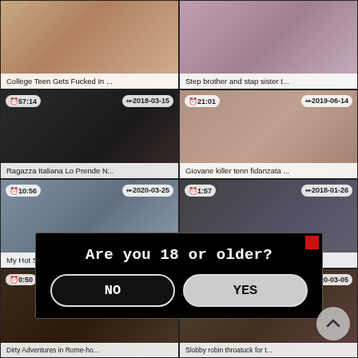[Figure (screenshot): Video thumbnail grid showing adult content website with age verification modal overlay. Grid of 8 video thumbnails in 2 columns, 4 rows. Row 1: 'College Teen Gets Fucked In ...' and 'Step brother and stap sister t...'. Row 2: duration 57:14, date 2018-03-15, title 'Ragazza Italiana Lo Prende N...' and duration 21:01, date 2019-06-14, title 'Giovane killer tenn fidanzata ...'. Row 3: duration 10:56, date 2020-03-25, title 'My Hot Stepsister Gets Fucke...' and duration 1:57, date 2018-01-26, title 'Piedi padrona snuffling nylon...'. Row 4 (partially visible): duration 0:50, title 'Dirty Adventures in Rome-ho...' and title 'Slobbу robin throatuck for t...'. Age verification modal: 'Are you 18 or older?' with NO and YES buttons.]